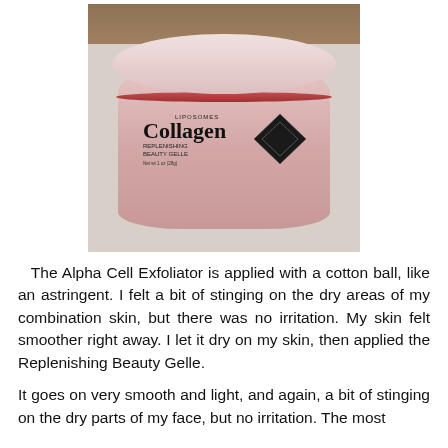[Figure (photo): A jar of Collagen Liposomes Replenishing Beauty Gelle product with a pink/white lid, sitting on a light gray countertop with a wooden surface visible in the background.]
The Alpha Cell Exfoliator is applied with a cotton ball, like an astringent. I felt a bit of stinging on the dry areas of my combination skin, but there was no irritation. My skin felt smoother right away. I let it dry on my skin, then applied the Replenishing Beauty Gelle.
It goes on very smooth and light, and again, a bit of stinging on the dry parts of my face, but no irritation. The most